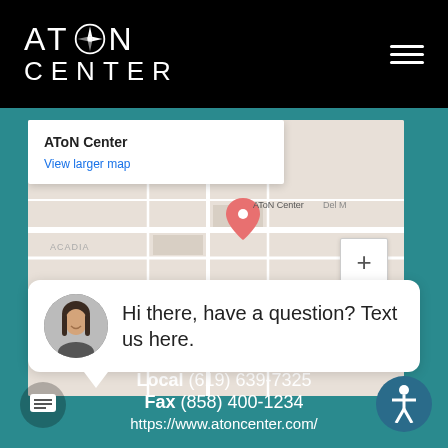[Figure (logo): AToN Center logo with compass icon on black header bar]
[Figure (screenshot): Google Maps embed showing AToN Center location with info popup, close button, and zoom controls]
[Figure (other): Chat widget bubble with female avatar and text: Hi there, have a question? Text us here.]
Encinitas, CA 92024
Toll Free (888) 236-4454
Local (619) 639-7325
Fax (858) 400-1234
https://www.atoncenter.com/